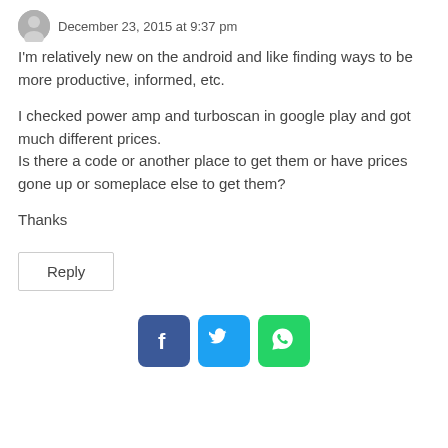December 23, 2015 at 9:37 pm
I'm relatively new on the android and like finding ways to be more productive, informed, etc.
I checked power amp and turboscan in google play and got much different prices.
Is there a code or another place to get them or have prices gone up or someplace else to get them?
Thanks
Reply
[Figure (logo): Social sharing buttons: Facebook (blue), Twitter (light blue), WhatsApp (green)]